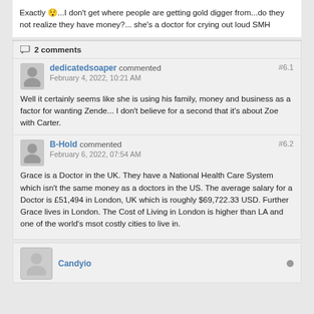Exactly 😯...I don't get where people are getting gold digger from...do they not realize they have money?... she's a doctor for crying out loud SMH
2 comments
dedicatedsoaper commented #6.1 February 4, 2022, 10:21 AM
Well it certainly seems like she is using his family, money and business as a factor for wanting Zende... I don't believe for a second that it's about Zoe with Carter.
B-Hold commented #6.2 February 6, 2022, 07:54 AM
Grace is a Doctor in the UK. They have a National Health Care System which isn't the same money as a doctors in the US. The average salary for a Doctor is £51,494 in London, UK which is roughly $69,722.33 USD. Further Grace lives in London. The Cost of Living in London is higher than LA and one of the world's msot costly cities to live in.
Candyio